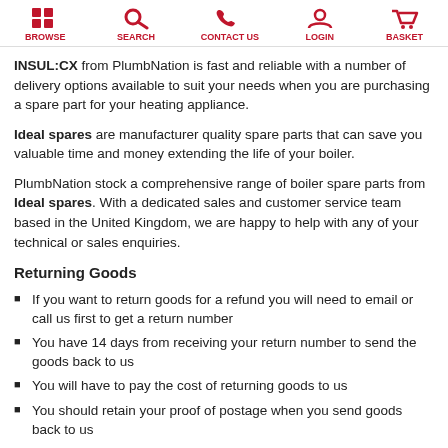BROWSE | SEARCH | CONTACT US | LOGIN | BASKET
INSUL:CX from PlumbNation is fast and reliable with a number of delivery options available to suit your needs when you are purchasing a spare part for your heating appliance.
Ideal spares are manufacturer quality spare parts that can save you valuable time and money extending the life of your boiler.
PlumbNation stock a comprehensive range of boiler spare parts from Ideal spares. With a dedicated sales and customer service team based in the United Kingdom, we are happy to help with any of your technical or sales enquiries.
Returning Goods
If you want to return goods for a refund you will need to email or call us first to get a return number
You have 14 days from receiving your return number to send the goods back to us
You will have to pay the cost of returning goods to us
You should retain your proof of postage when you send goods back to us